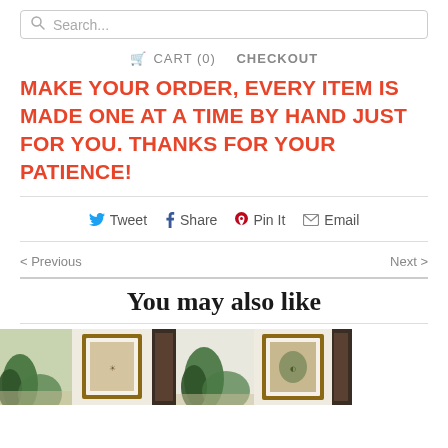Search...
🛒 CART (0)   CHECKOUT
MAKE YOUR ORDER, EVERY ITEM IS MADE ONE AT A TIME BY HAND JUST FOR YOU. THANKS FOR YOUR PATIENCE!
Tweet   Share   Pin It   Email
< Previous   Next >
You may also like
[Figure (photo): Thumbnail images of framed art products in a 'You may also like' section]